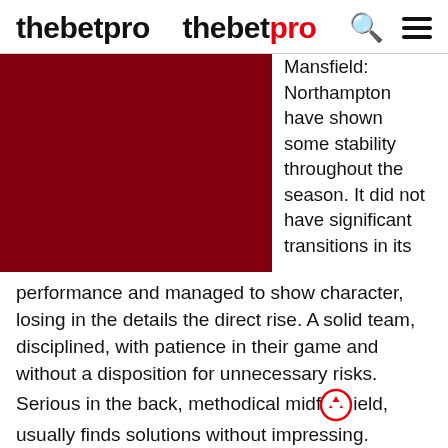thebetpro
[Figure (photo): Dark red/maroon rectangular image placeholder]
Mansfield: Northampton have shown some stability throughout the season. It did not have significant transitions in its performance and managed to show character, losing in the details the direct rise. A solid team, disciplined, with patience in their game and without a disposition for unnecessary risks. Serious in the back, methodical midfield, usually finds solutions without impressing. Mansfield is